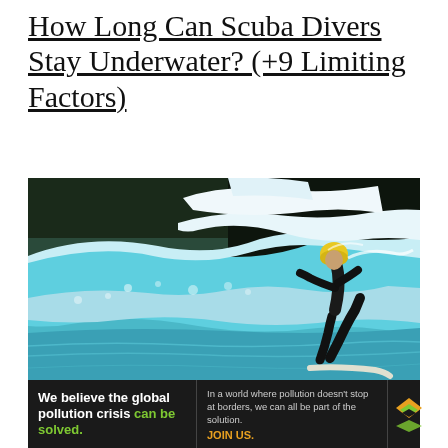How Long Can Scuba Divers Stay Underwater? (+9 Limiting Factors)
[Figure (photo): A surfer in a black wetsuit and yellow helmet rides a large turquoise wave in what appears to be an indoor or controlled surf facility. The wave is breaking and foamy white.]
[Figure (other): Advertisement banner for Pure Earth. Left section (dark background): 'We believe the global pollution crisis can be solved.' Middle section: 'In a world where pollution doesn't stop at borders, we can all be part of the solution. JOIN US.' Right section: Pure Earth logo with diamond/chevron symbol.]